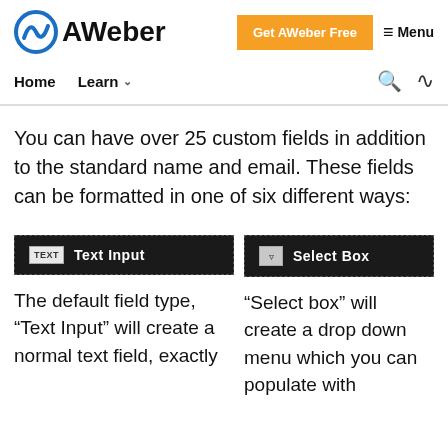AWeber — Get AWeber Free — Menu
Home  Learn
You can have over 25 custom fields in addition to the standard name and email. These fields can be formatted in one of six different ways:
[Figure (screenshot): Text Input field type selector, dark background with dashed border, showing TEXT icon and label 'Text Input']
[Figure (screenshot): Select Box field type selector, dark background with dashed border, showing dropdown icon and label 'Select Box']
The default field type, "Text Input" will create a normal text field, exactly
"Select box" will create a drop down menu which you can populate with